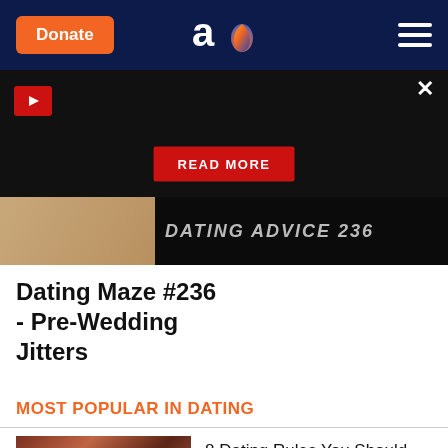Donate | Aish.com | Menu
[Figure (screenshot): Black video overlay with play button, READ MORE button, and video thumbnail showing 'DATING ADVICE 236' text with close (X) button]
Dating Maze #236 - Pre-Wedding Jitters
MOST POPULAR IN DATING
8 Dating Rules You Should Break